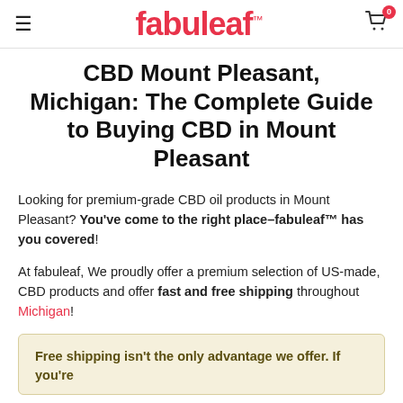fabuleaf™
CBD Mount Pleasant, Michigan: The Complete Guide to Buying CBD in Mount Pleasant
Looking for premium-grade CBD oil products in Mount Pleasant? You've come to the right place–fabuleaf™ has you covered!
At fabuleaf, We proudly offer a premium selection of US-made, CBD products and offer fast and free shipping throughout Michigan!
Free shipping isn't the only advantage we offer. If you're